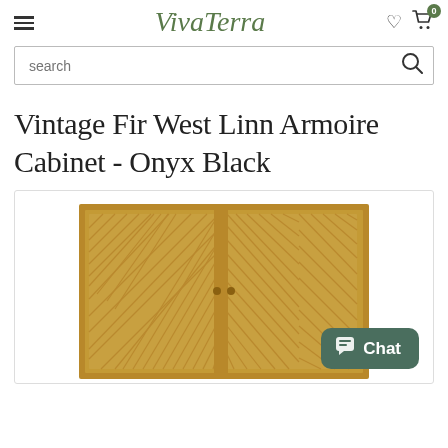VivaTerra — hamburger menu, logo, heart icon, cart icon (0)
search
Vintage Fir West Linn Armoire Cabinet - Onyx Black
[Figure (photo): Photo of a wooden armoire cabinet with two doors featuring a natural wood grain chevron/herringbone pattern in warm golden-brown tones, set against a white background. A teal chat button overlay appears in the bottom right corner.]